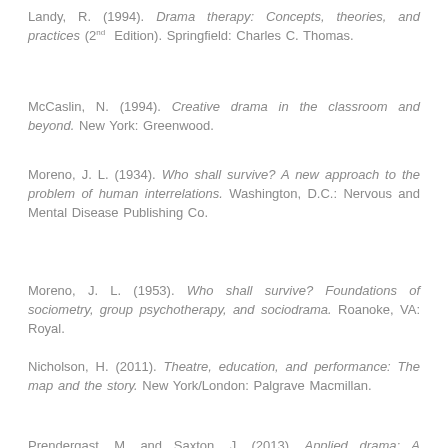Landy, R. (1994). Drama therapy: Concepts, theories, and practices (2nd Edition). Springfield: Charles C. Thomas.
McCaslin, N. (1994). Creative drama in the classroom and beyond. New York: Greenwood.
Moreno, J. L. (1934). Who shall survive? A new approach to the problem of human interrelations. Washington, D.C.: Nervous and Mental Disease Publishing Co.
Moreno, J. L. (1953). Who shall survive? Foundations of sociometry, group psychotherapy, and sociodrama. Roanoke, VA: Royal.
Nicholson, H. (2011). Theatre, education, and performance: The map and the story. New York/London: Palgrave Macmillan.
Prendergast, M. and Saxton, J. (2013). Applied drama: A facilitator's handbook for working in community. Intellect Books.